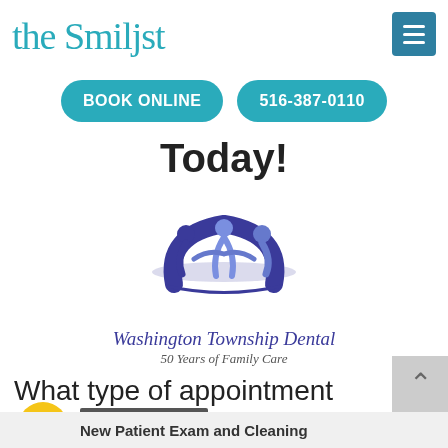the Smilist
BOOK ONLINE
516-387-0110
Today!
[Figure (logo): Washington Township Dental logo with three figures in a circle, text reads 'Washington Township Dental 50 Years of Family Care']
What type of appointment would you like to schedule?
VIEW OFFER
New Patient Exam and Cleaning